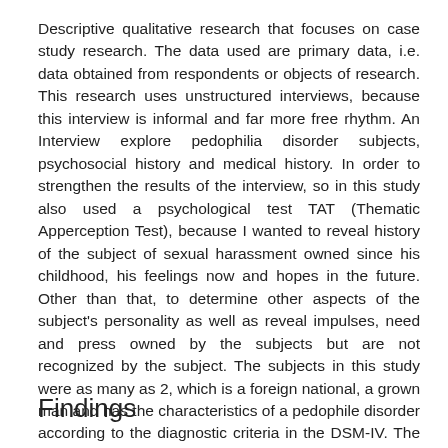Descriptive qualitative research that focuses on case study research. The data used are primary data, i.e. data obtained from respondents or objects of research. This research uses unstructured interviews, because this interview is informal and far more free rhythm. An Interview explore pedophilia disorder subjects, psychosocial history and medical history. In order to strengthen the results of the interview, so in this study also used a psychological test TAT (Thematic Apperception Test), because I wanted to reveal history of the subject of sexual harassment owned since his childhood, his feelings now and hopes in the future. Other than that, to determine other aspects of the subject's personality as well as reveal impulses, need and press owned by the subjects but are not recognized by the subject. The subjects in this study were as many as 2, which is a foreign national, a grown man and has the characteristics of a pedophile disorder according to the diagnostic criteria in the DSM-IV. The selection of subjects was based on the initial interview and after learning the verdict given authorities the cases of the two subjects. The locations used in this study is a Class IIB Penitentiary Singaraja, Bali. This is because the subject is serving jail time in Bali. The research was conducted on December 29, 2007 until January 12, 2008
Findings